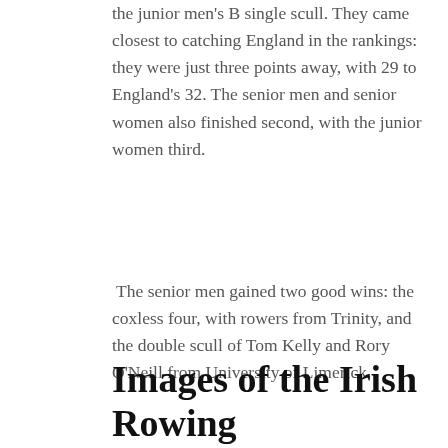the junior men's B single scull. They came closest to catching England in the rankings: they were just three points away, with 29 to England's 32. The senior men and senior women also finished second, with the junior women third.
The senior men gained two good wins: the coxless four, with rowers from Trinity, and the double scull of Tom Kelly and Rory O'Neill from University of Limerick.
The senior women's pair of Emma Waters and Eabha Benson, both from NUIG, took gold with a big win.
Images of the Irish Rowing Championships